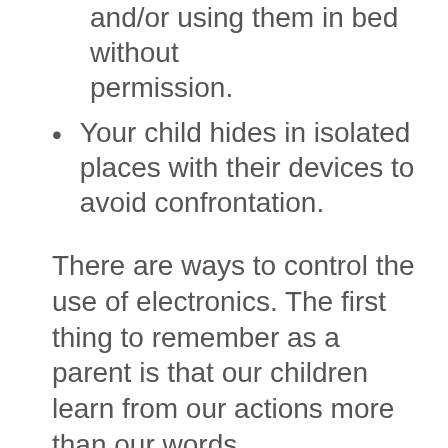and/or using them in bed without permission.
Your child hides in isolated places with their devices to avoid confrontation.
There are ways to control the use of electronics. The first thing to remember as a parent is that our children learn from our actions more than our words.
Take in to consideration how much time you are spending on your electronic devices. Are you showing your child ways to stimulate their minds away from electronics?
Some researchers recommend a 72-hour